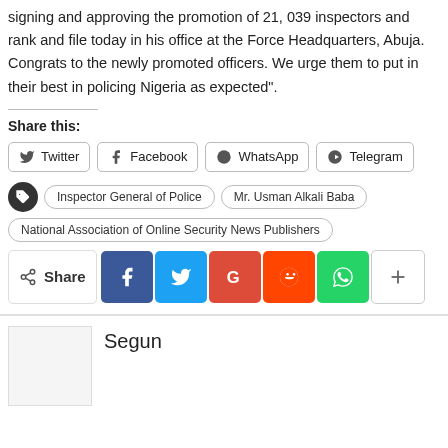signing and approving the promotion of 21, 039 inspectors and rank and file today in his office at the Force Headquarters, Abuja. Congrats to the newly promoted officers. We urge them to put in their best in policing Nigeria as expected".
Share this:
Twitter
Facebook
WhatsApp
Telegram
Inspector General of Police
Mr. Usman Alkali Baba
National Association of Online Security News Publishers
Share
Segun